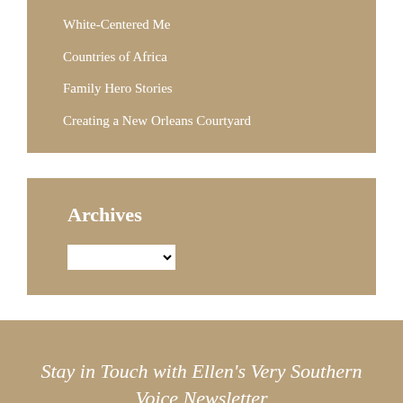White-Centered Me
Countries of Africa
Family Hero Stories
Creating a New Orleans Courtyard
Archives
Stay in Touch with Ellen's Very Southern Voice Newsletter